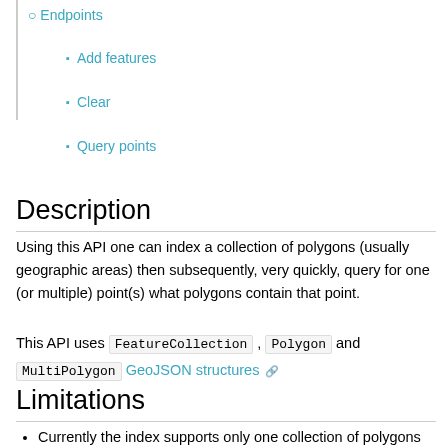Endpoints
Add features
Clear
Query points
Description
Using this API one can index a collection of polygons (usually geographic areas) then subsequently, very quickly, query for one (or multiple) point(s) what polygons contain that point.
This API uses FeatureCollection , Polygon and MultiPolygon GeoJSON structures
Limitations
Currently the index supports only one collection of polygons at a time.